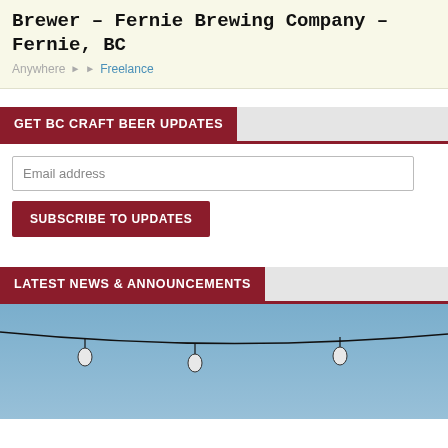Brewer – Fernie Brewing Company – Fernie, BC
Anywhere ▸ ▸ Freelance
GET BC CRAFT BEER UPDATES
Email address
SUBSCRIBE TO UPDATES
LATEST NEWS & ANNOUNCEMENTS
[Figure (photo): String lights hanging against a blue sky, photo partially visible at bottom of page]